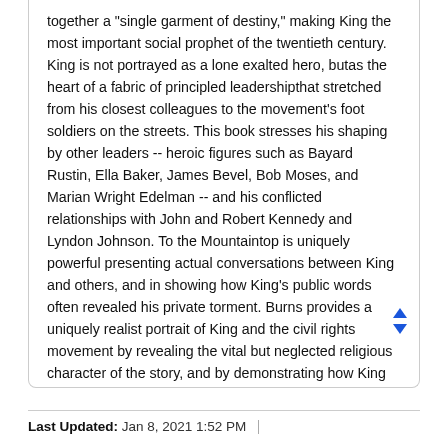together a "single garment of destiny," making King the most important social prophet of the twentieth century. King is not portrayed as a lone exalted hero, butas the heart of a fabric of principled leadershipthat stretched from his closest colleagues to the movement's foot soldiers on the streets. This book stresses his shaping by other leaders -- heroic figures such as Bayard Rustin, Ella Baker, James Bevel, Bob Moses, and Marian Wright Edelman -- and his conflicted relationships with John and Robert Kennedy and Lyndon Johnson. To the Mountaintop is uniquely powerful presenting actual conversations between King and others, and in showing how King's public words often revealed his private torment. Burns provides a uniquely realist portrait of King and the civil rights movement by revealing the vital but neglected religious character of the story, and by demonstrating how King profoundly experienced the movement as a sacred mission following a path of liberation and sacrifice pioneered by Moses and Jesus.
Last Updated: Jan 8, 2021 1:52 PM